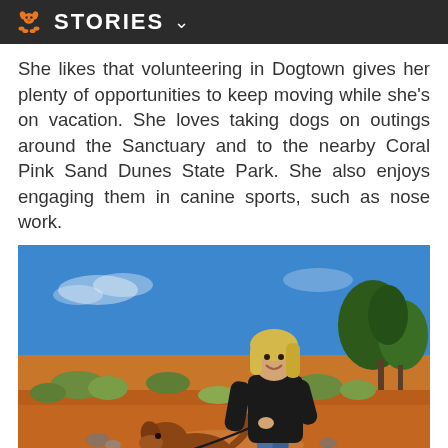STORIES
She likes that volunteering in Dogtown gives her plenty of opportunities to keep moving while she's on vacation. She loves taking dogs on outings around the Sanctuary and to the nearby Coral Pink Sand Dunes State Park. She also enjoys engaging them in canine sports, such as nose work.
[Figure (photo): A woman with blonde hair wearing a black jacket and jeans walks a brown dog on a leash along a desert trail with red sand, scrubby desert vegetation, and blue sky with trees in the background.]